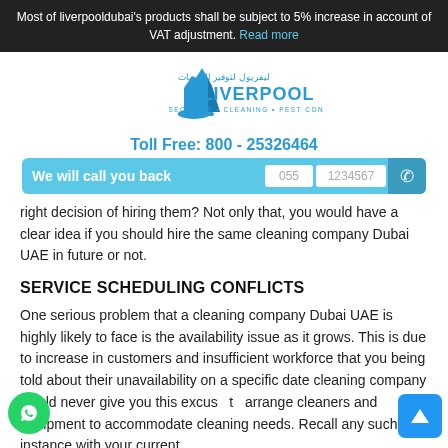Most of liverpooldubai's products shall be subject to 5% increase in account of VAT adjustment. Read more
[Figure (logo): Liverpool Security Cleaning Pest Control logo with Arabic text and blue building graphic]
Toll Free: 800 - 25326464
[Figure (infographic): We will call you back form bar with phone input fields showing 055 and 1234567]
right decision of hiring them? Not only that, you would have a clear idea if you should hire the same cleaning company Dubai UAE in future or not.
SERVICE SCHEDULING CONFLICTS
One serious problem that a cleaning company Dubai UAE is highly likely to face is the availability issue as it grows. This is due to increase in customers and insufficient workforce that you being told about their unavailability on a specific date cleaning company would never give you this excuse to arrange cleaners and equipment to accommodate cleaning needs. Recall any such instance with your current